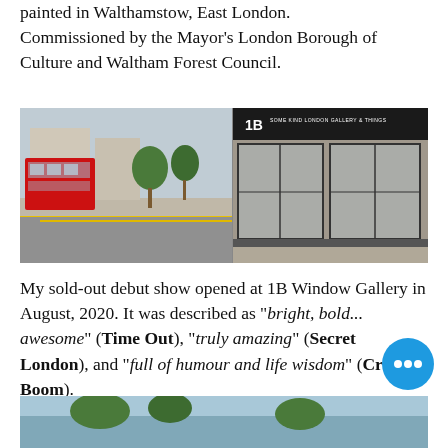painted in Walthamstow, East London. Commissioned by the Mayor's London Borough of Culture and Waltham Forest Council.
[Figure (photo): Two-panel street photo: left side shows a London high street with a red double-decker bus and trees; right side shows the exterior of 1B Window Gallery with black shopfront signage.]
My sold-out debut show opened at 1B Window Gallery in August, 2020. It was described as "bright, bold... awesome" (Time Out), "truly amazing" (Secret London), and "full of humour and life wisdom" (Creative Boom).
[Figure (illustration): Simple line drawing icon of a spray paint can with spray marks.]
A FEW STREET SIGN
[Figure (photo): Bottom partial photo showing a street scene with trees and sky, partially visible.]